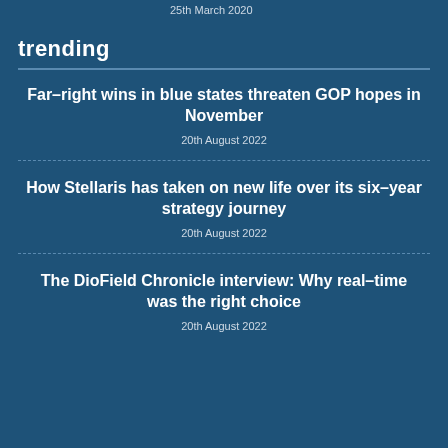25th March 2020
trending
Far–right wins in blue states threaten GOP hopes in November
20th August 2022
How Stellaris has taken on new life over its six–year strategy journey
20th August 2022
The DioField Chronicle interview: Why real–time was the right choice
20th August 2022